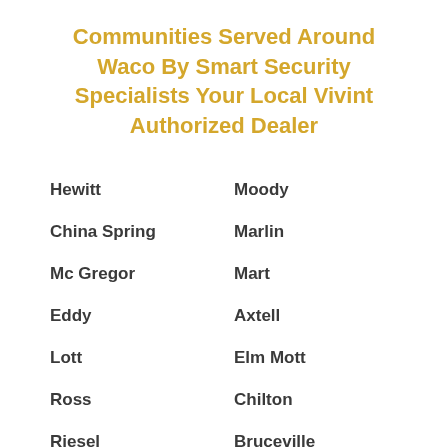Communities Served Around Waco By Smart Security Specialists Your Local Vivint Authorized Dealer
Hewitt
Moody
China Spring
Marlin
Mc Gregor
Mart
Eddy
Axtell
Lott
Elm Mott
Ross
Chilton
Riesel
Bruceville